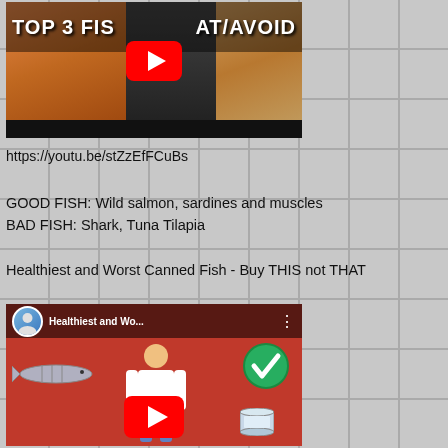[Figure (screenshot): YouTube video thumbnail for 'TOP 3 FISH TO EAT/AVOID' showing fish food images and a person, with red YouTube play button]
https://youtu.be/stZzEfFCuBs
GOOD FISH: Wild salmon, sardines and muscles
BAD FISH: Shark, Tuna Tilapia
Healthiest and Worst Canned Fish - Buy THIS not THAT
[Figure (screenshot): YouTube video thumbnail for 'Healthiest and Wo...' showing a man holding canned fish, a fish illustration, green checkmark circle, and red YouTube play button on red background]